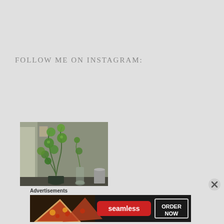FOLLOW ME ON INSTAGRAM:
[Figure (photo): A green plant with round leaves in a dark pot on a table indoors, against a grey-green wall with natural light coming from the left.]
Advertisements
[Figure (screenshot): Seamless food ordering advertisement banner showing pizza slices on the left, a red 'seamless' logo in the center, and an 'ORDER NOW' button on the right with a dark background.]